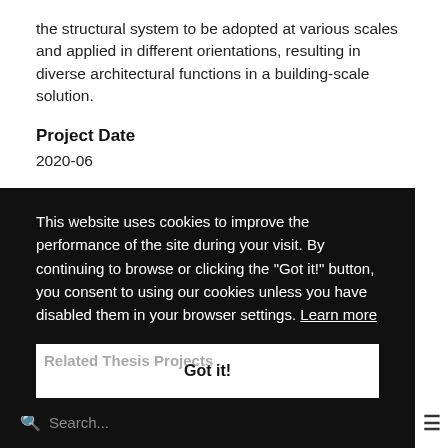the structural system to be adopted at various scales and applied in different orientations, resulting in diverse architectural functions in a building-scale solution.
Project Date
2020-06
This website uses cookies to improve the performance of the site during your visit. By continuing to browse or clicking the "Got it!" button, you consent to using our cookies unless you have disabled them in your browser settings. Learn more
Got it!
Related Thesis Projects
Search...